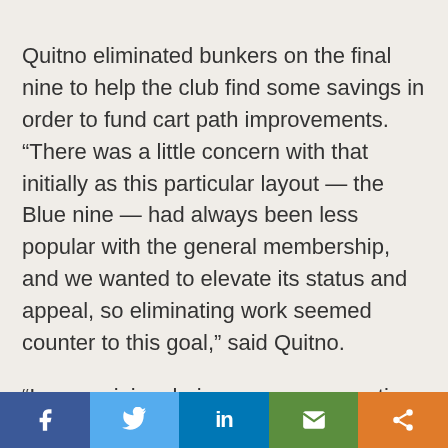Quitno eliminated bunkers on the final nine to help the club find some savings in order to fund cart path improvements. “There was a little concern with that initially as this particular layout — the Blue nine — had always been less popular with the general membership, and we wanted to elevate its status and appeal, so eliminating work seemed counter to this goal,” said Quitno.

“In my opinion, being more conservative